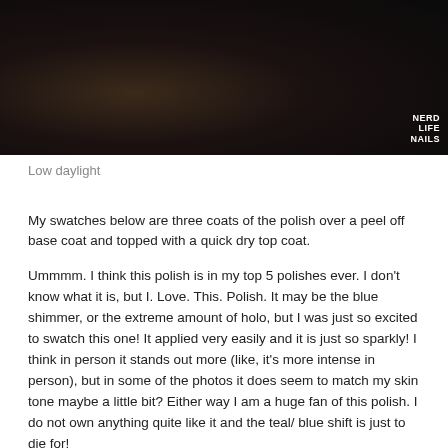[Figure (photo): Dark low-light photograph of nail polish swatch with 'NERD LIFE NAILS' watermark in bottom right corner]
Low daylight
My swatches below are three coats of the polish over a peel off base coat and topped with a quick dry top coat.
Ummmm. I think this polish is in my top 5 polishes ever. I don't know what it is, but I. Love. This. Polish. It may be the blue shimmer, or the extreme amount of holo, but I was just so excited to swatch this one! It applied very easily and it is just so sparkly! I think in person it stands out more (like, it's more intense in person), but in some of the photos it does seem to match my skin tone maybe a little bit? Either way I am a huge fan of this polish. I do not own anything quite like it and the teal/ blue shift is just to die for!
[Figure (photo): Close-up photo of a fingernail with shimmer/holo nail polish, skin tones visible]